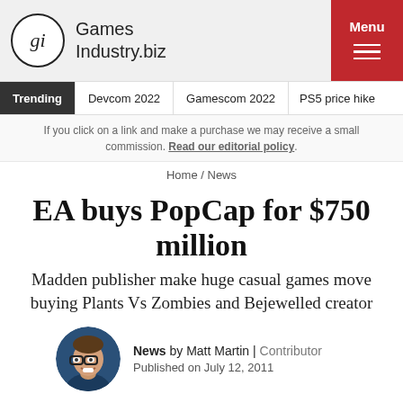GamesIndustry.biz | Menu
Trending | Devcom 2022 | Gamescom 2022 | PS5 price hike
If you click on a link and make a purchase we may receive a small commission. Read our editorial policy.
Home / News
EA buys PopCap for $750 million
Madden publisher make huge casual games move buying Plants Vs Zombies and Bejewelled creator
News by Matt Martin | Contributor
Published on July 12, 2011